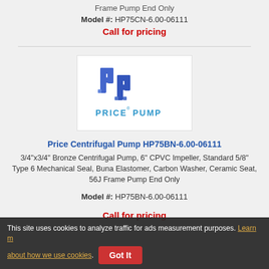Frame Pump End Only
Model #: HP75CN-6.00-06111
Call for pricing
[Figure (logo): Price Pump company logo with stylized blue PP lettermark and text 'PRICE PUMP']
Price Centrifugal Pump HP75BN-6.00-06111
3/4"x3/4" Bronze Centrifugal Pump, 6" CPVC Impeller, Standard 5/8" Type 6 Mechanical Seal, Buna Elastomer, Carbon Washer, Ceramic Seat, 56J Frame Pump End Only
Model #: HP75BN-6.00-06111
Call for pricing
This site uses cookies to analyze traffic for ads measurement purposes. Learn more about how we use cookies. Got It